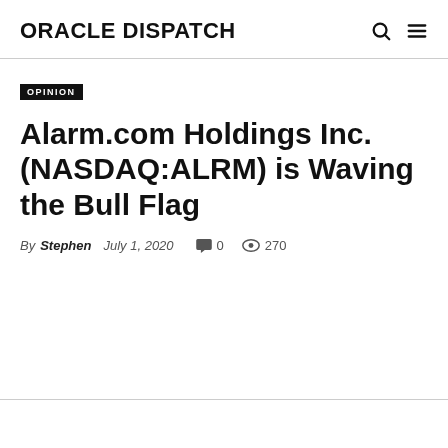ORACLE DISPATCH
OPINION
Alarm.com Holdings Inc. (NASDAQ:ALRM) is Waving the Bull Flag
By Stephen   July 1, 2020   0   270